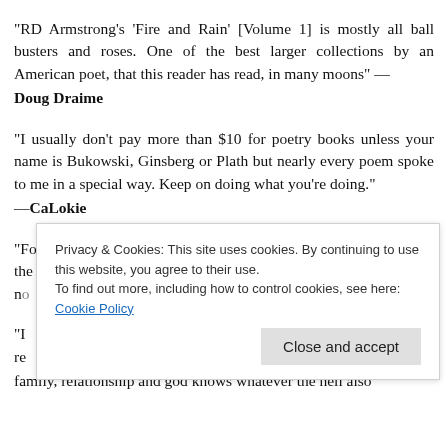“RD Armstrong’s ‘Fire and Rain’ [Volume 1] is mostly all ball busters and roses. One of the best larger collections by an American poet, that this reader has read, in many moons” — Doug Draime
“I usually don't pay more than $10 for poetry books unless your name is Bukowski, Ginsberg or Plath but nearly every poem spoke to me in a special way. Keep on doing what you’re doing.” —CaLokie
“For Armstrong the Blues are not played, but lived – his poems are the observations of a life lived raw. He hides no sin, expects n[o...] e[...]
Privacy & Cookies: This site uses cookies. By continuing to use this website, you agree to their use. To find out more, including how to control cookies, see here: Cookie Policy
Close and accept
family, relationship and god knows whatever the hell also